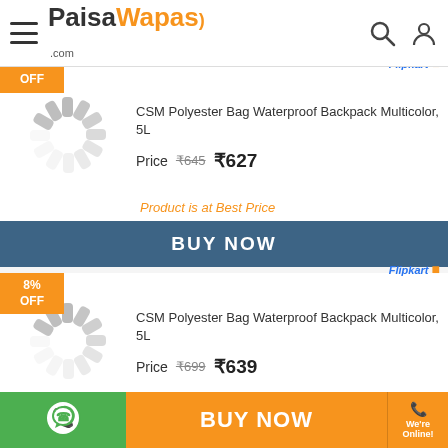PaisaWapas.com
[Figure (illustration): Loading spinner placeholder for product image, with orange OFF badge overlay]
CSM Polyester Bag Waterproof Backpack Multicolor, 5L
Price ₹645 ₹627
Product is at Best Price
BUY NOW
[Figure (illustration): Loading spinner placeholder for second product image, with 8% OFF badge overlay]
CSM Polyester Bag Waterproof Backpack Multicolor, 5L
Price ₹699 ₹639
Product is at Best Price
BUY NOW
We're Online!